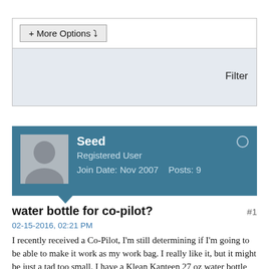+ More Options ▾
Filter
Seed
Registered User
Join Date: Nov 2007    Posts: 9
water bottle for co-pilot?
#1
02-15-2016, 02:21 PM
I recently received a Co-Pilot, I'm still determining if I'm going to be able to make it work as my work bag. I really like it, but it might be just a tad too small. I have a Klean Kanteen 27 oz water bottle with a loop lid, it's about an inch too tall for the water bottle compartment. I feel like I should be able to get a water bottle with the same capacity (27 ounces / 800 ml) into the water bottle compartment, it